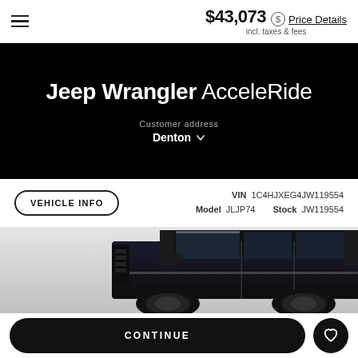$43,073 incl. taxes & fees — Price Details
Jeep Wrangler AcceleRide
Customer address
Denton
VEHICLE INFO
VIN 1C4HJXEG4JW119554  Model JLJP74   Stock JW119554
[Figure (photo): Partial front/side view of a dark Jeep Wrangler against a light gray gradient background]
CONTINUE